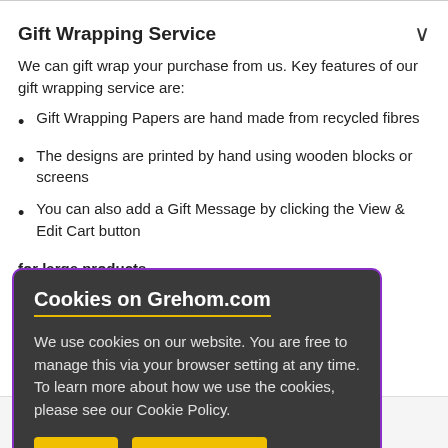Gift Wrapping Service
We can gift wrap your purchase from us. Key features of our gift wrapping service are:
Gift Wrapping Papers are hand made from recycled fibres
The designs are printed by hand using wooden blocks or screens
You can also add a Gift Message by clicking the View & Edit Cart button
for large products
Cookies on Grehom.com
We use cookies on our website. You are free to manage this via your browser setting at any time. To learn more about how we use the cookies, please see our Cookie Policy.
✔ OK
Cookie Policy
t like!